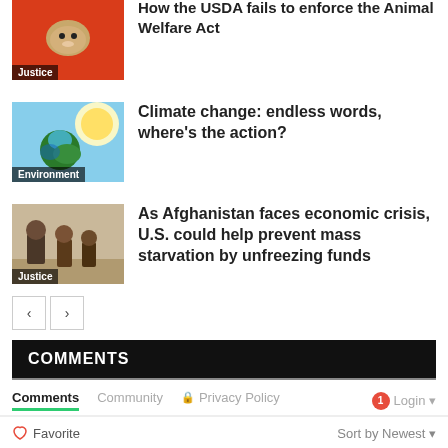[Figure (photo): Hamster on red background with Justice tag label]
How the USDA fails to enforce the Animal Welfare Act
[Figure (photo): Earth globe with sunlight and blue sky background with Environment tag label]
Climate change: endless words, where's the action?
[Figure (photo): People in outdoor setting with Justice tag label]
As Afghanistan faces economic crisis, U.S. could help prevent mass starvation by unfreezing funds
COMMENTS
Comments  Community  Privacy Policy  Login
Favorite  Sort by Newest